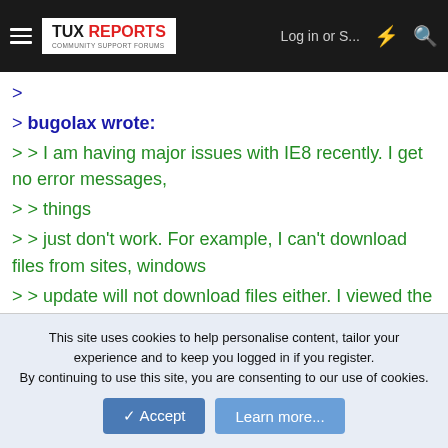TUX REPORTS | Log in or S... | [flash icon] | [search icon]
>
> bugolax wrote:
> > I am having major issues with IE8 recently. I get no error messages,
> > things
> > just don't work. For example, I can't download files from sites, windows
> > update will not download files either. I viewed the html source on a
> > particular page that wasn't working and there was some text in the html
> > that
> > said Javascript was not supported in my browser (but the text didn't show
This site uses cookies to help personalise content, tailor your experience and to keep you logged in if you register. By continuing to use this site, you are consenting to our use of cookies.